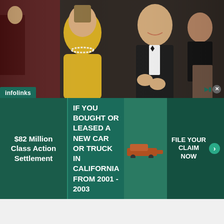[Figure (photo): A woman in a gold dress with pearl necklace and a man in a tuxedo clapping at what appears to be a formal dance event]
Philip enthusiastically claps along during the Spring Dance. Anna… not quite as enthusiastic.
A large black silk butterfly-shaped bow tie harmonizes with the wide silk-faced lapels. A smaller bow tie tends to make one's head look bigger—an issue where Grant was famously self-conscious—so it makes sense that he would opt for larger bow ties.
[Figure (infographic): Advertisement banner: infolinks label, $82 Million Class Action Settlement, IF YOU BOUGHT OR LEASED A NEW CAR OR TRUCK IN CALIFORNIA FROM 2001 - 2003, FILE YOUR CLAIM NOW button]